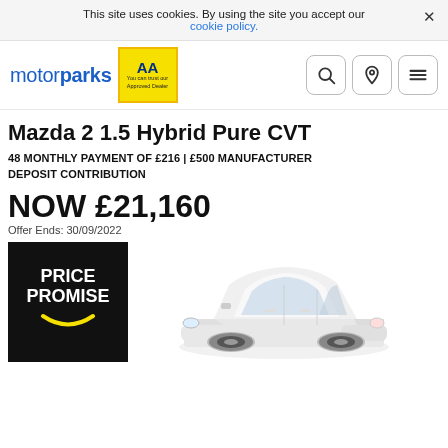This site uses cookies. By using the site you accept our cookie policy.
[Figure (logo): motorparks logo with AA Approved Dealer badge]
Mazda 2 1.5 Hybrid Pure CVT
48 MONTHLY PAYMENT OF £216 | £500 MANUFACTURER DEPOSIT CONTRIBUTION
NOW £21,160
Offer Ends: 30/09/2022
[Figure (logo): PRICE PROMISE badge - black background with white text and yellow smile]
[Figure (photo): White Mazda 2 hatchback car photographed from front-left angle]